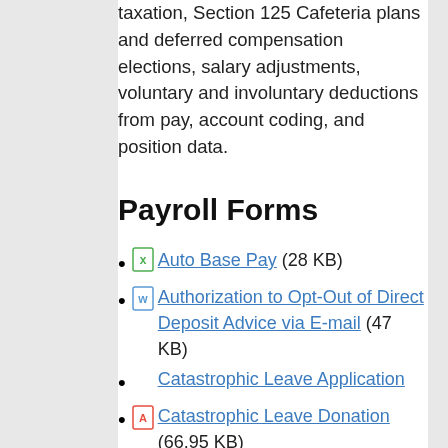taxation, Section 125 Cafeteria plans and deferred compensation elections, salary adjustments, voluntary and involuntary deductions from pay, account coding, and position data.
Payroll Forms
Auto Base Pay (28 KB)
Authorization to Opt-Out of Direct Deposit Advice via E-mail (47 KB)
Catastrophic Leave Application
Catastrophic Leave Donation (66.95 KB)
Direct Deposit (68.5 KB)
Employee Tax Withholding Form (W-4) (106.85 KB)